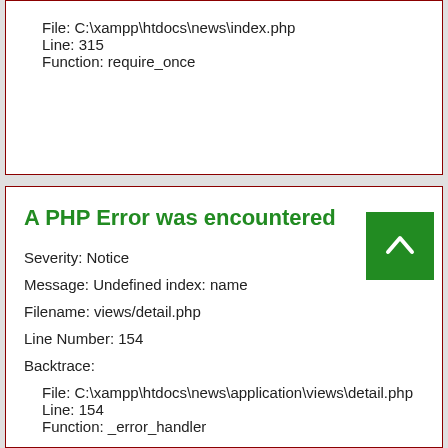File: C:\xampp\htdocs\news\index.php
Line: 315
Function: require_once
A PHP Error was encountered
Severity: Notice
Message: Undefined index: name
Filename: views/detail.php
Line Number: 154
Backtrace:
File: C:\xampp\htdocs\news\application\views\detail.php
Line: 154
Function: _error_handler
File: C:\xampp\htdocs\news\application\controllers\Newscontrol.php
Line: 35
Function: view